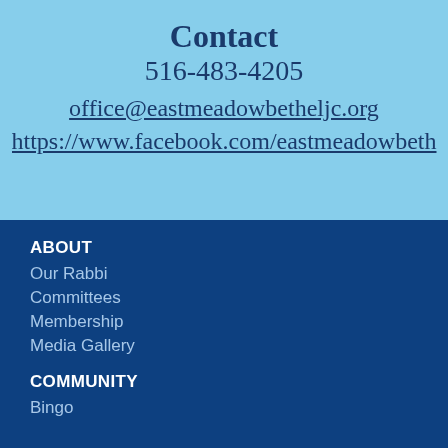Contact
516-483-4205
office@eastmeadowbetheljc.org
https://www.facebook.com/eastmeadowbeth
ABOUT
Our Rabbi
Committees
Membership
Media Gallery
COMMUNITY
Bingo